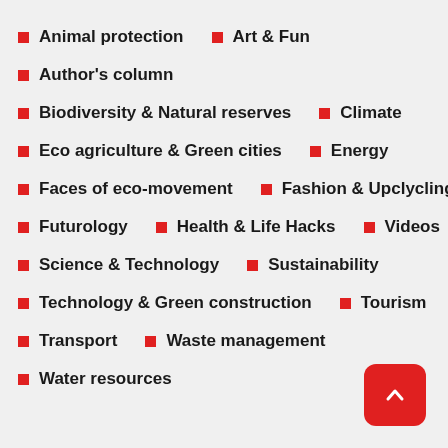Animal protection
Art & Fun
Author's column
Biodiversity & Natural reserves
Climate
Eco agriculture & Green cities
Energy
Faces of eco-movement
Fashion & Upclycling
Futurology
Health & Life Hacks
Videos
Science & Technology
Sustainability
Technology & Green construction
Tourism
Transport
Waste management
Water resources